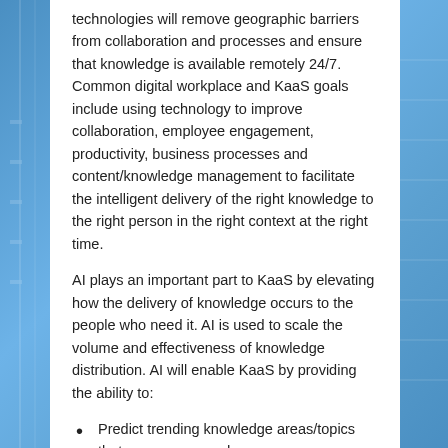technologies will remove geographic barriers from collaboration and processes and ensure that knowledge is available remotely 24/7. Common digital workplace and KaaS goals include using technology to improve collaboration, employee engagement, productivity, business processes and content/knowledge management to facilitate the intelligent delivery of the right knowledge to the right person in the right context at the right time.
AI plays an important part to KaaS by elevating how the delivery of knowledge occurs to the people who need it. AI is used to scale the volume and effectiveness of knowledge distribution. AI will enable KaaS by providing the ability to:
Predict trending knowledge areas/topics that your users need
Identify which targeted knowledge will resonate